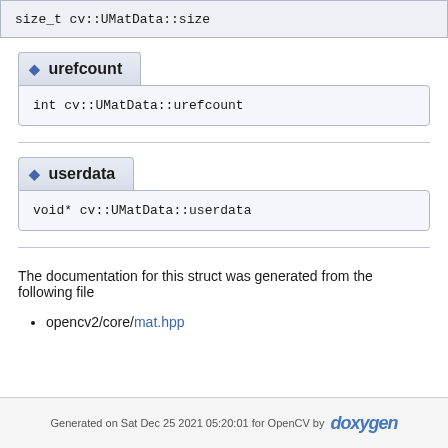size_t cv::UMatData::size
◆ urefcount
int cv::UMatData::urefcount
◆ userdata
void* cv::UMatData::userdata
The documentation for this struct was generated from the following file
opencv2/core/mat.hpp
Generated on Sat Dec 25 2021 05:20:01 for OpenCV by doxygen